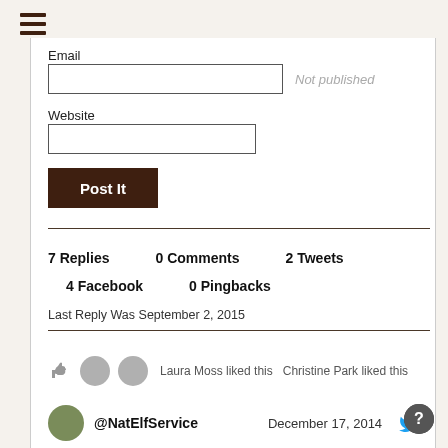[Figure (illustration): Hamburger/menu icon (three horizontal lines) in dark brown, top-left corner]
Email
[Figure (illustration): Empty text input field for Email]
Not published
Website
[Figure (illustration): Empty text input field for Website]
[Figure (illustration): Button labeled 'Post It' with dark brown background]
7 Replies   0 Comments   2 Tweets
4 Facebook   0 Pingbacks
Last Reply Was September 2, 2015
[Figure (illustration): Thumbs up icon, two round user avatar placeholders (gray), 'Laura Moss liked this' and 'Christine Park liked this' text with small avatar icons]
@NatElfService   December 17, 2014